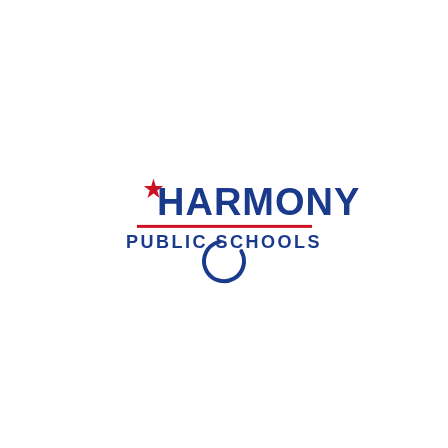[Figure (logo): Harmony Public Schools logo with blue text, red star on the H, red underline, and blue circular loading spinner below]
[Figure (other): Blue circular loading spinner/ring below the Harmony Public Schools logo]